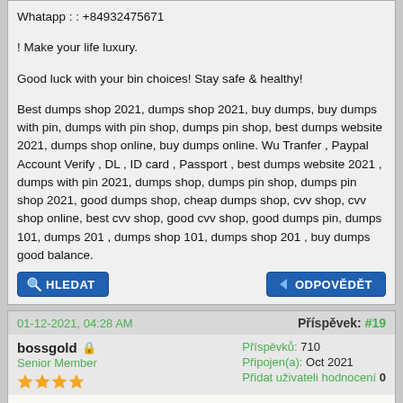Whatapp : : +84932475671
! Make your life luxury.
Good luck with your bin choices! Stay safe & healthy!
Best dumps shop 2021, dumps shop 2021, buy dumps, buy dumps with pin, dumps with pin shop, dumps pin shop, best dumps website 2021, dumps shop online, buy dumps online. Wu Tranfer , Paypal Account Verify , DL , ID card , Passport , best dumps website 2021 , dumps with pin 2021, dumps shop, dumps pin shop, dumps pin shop 2021, good dumps shop, cheap dumps shop, cvv shop, cvv shop online, best cvv shop, good cvv shop, good dumps pin, dumps 101, dumps 201 , dumps shop 101, dumps shop 201 , buy dumps good balance.
HLEDAT | ODPOVĚDĚT
01-12-2021, 04:28 AM
Příspěvek: #19
bossgold
Senior Member
Příspěvků: 710
Připojen(a): Oct 2021
Přidat uživateli hodnocení 0
https://bigshop79.com Best dumps website 2021 buy dumps Pin